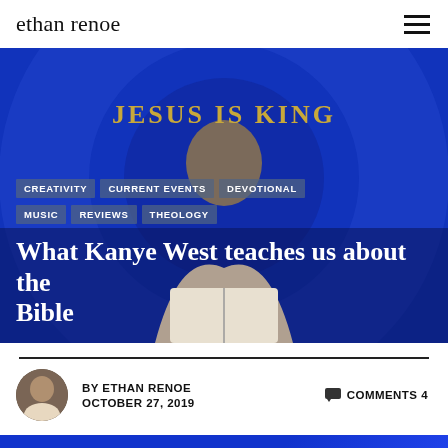ethan renoe
[Figure (photo): Hero image showing a man reading with 'JESUS IS KING' text overlay on a blue background, with category tags and article title]
CREATIVITY
CURRENT EVENTS
DEVOTIONAL
MUSIC
REVIEWS
THEOLOGY
What Kanye West teaches us about the Bible
BY ETHAN RENOE  OCTOBER 27, 2019  COMMENTS 4
[Figure (photo): Blue gradient image strip at bottom of page]